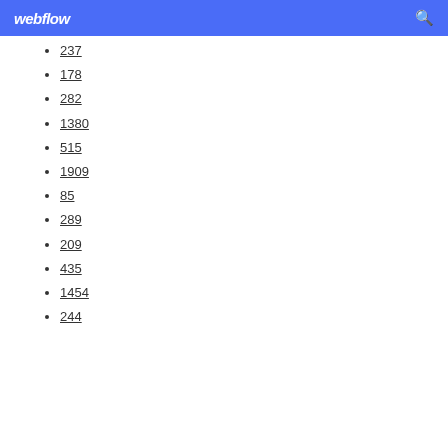webflow
237
178
282
1380
515
1909
85
289
209
435
1454
244